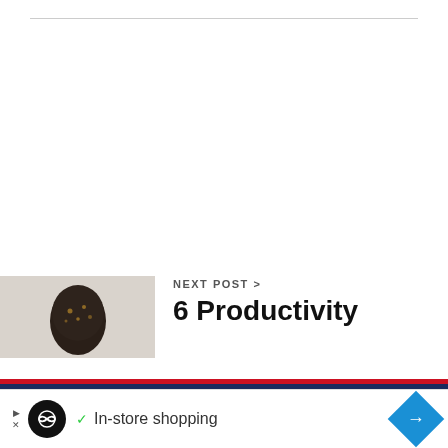[Figure (other): Horizontal rule/divider line at top of page]
[Figure (photo): Thumbnail image of a dark egg-shaped object on a light marble/stone surface]
NEXT POST >
6 Productivity
[Figure (infographic): Red horizontal bar followed by navy/dark blue horizontal bar acting as a decorative page divider]
[Figure (infographic): Advertisement bar: icons on left, circular black logo with infinity symbol, checkmark, 'In-store shopping' text, blue diamond with right-arrow icon on right]